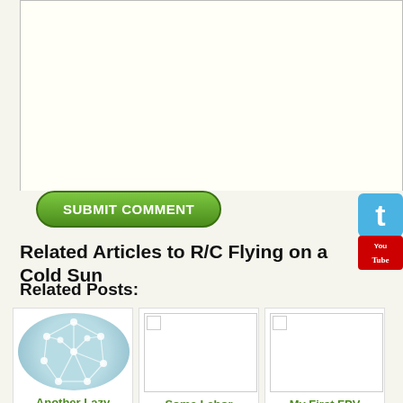[Figure (screenshot): Text area input box for comment submission]
[Figure (screenshot): Submit Comment green button and Twitter/YouTube social icons]
Related Articles to R/C Flying on a Cold Sunday
Related Posts:
[Figure (illustration): Another Lazy - post thumbnail with network graph icon]
[Figure (photo): Some Labor - post thumbnail, image broken]
[Figure (photo): My First FPV - post thumbnail, image broken]